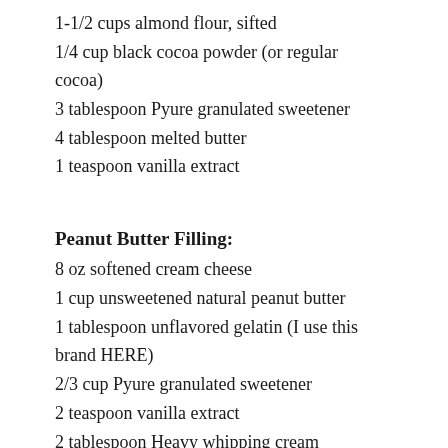1-1/2 cups almond flour, sifted
1/4 cup black cocoa powder (or regular cocoa)
3 tablespoon Pyure granulated sweetener
4 tablespoon melted butter
1 teaspoon vanilla extract
Peanut Butter Filling:
8 oz softened cream cheese
1 cup unsweetened natural peanut butter
1 tablespoon unflavored gelatin (I use this brand HERE)
2/3 cup Pyure granulated sweetener
2 teaspoon vanilla extract
2 tablespoon Heavy whipping cream
Whipped Topping: